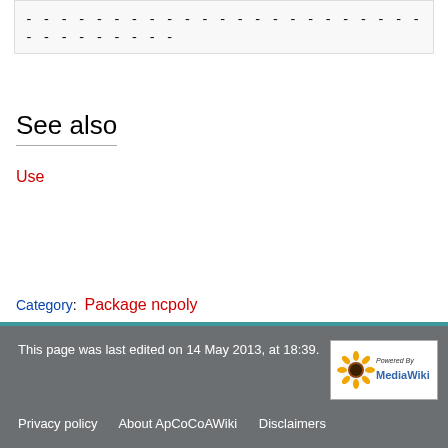- - - - - - - - - - - - - - - - - - - - - - - - - - - - - - - -
See also
Use
Category: Package ncpoly
This page was last edited on 14 May 2013, at 18:39.
Privacy policy   About ApCoCoAWiki   Disclaimers